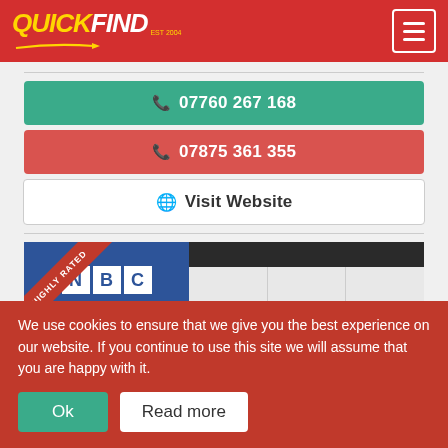[Figure (logo): QuickFind logo — QUICK in yellow italic bold, FIND in white italic bold, EST 2004 below, on red background header with hamburger menu icon]
07760 267 168
07875 361 355
Visit Website
[Figure (photo): North Birmingham Contracts business listing card with HIGHLY RATED red ribbon, NBC blue logo, bathroom and kitchen photos, 40 Years Experience]
We use cookies to ensure that we give you the best experience on our website. If you continue to use this site we will assume that you are happy with it.
Ok
Read more